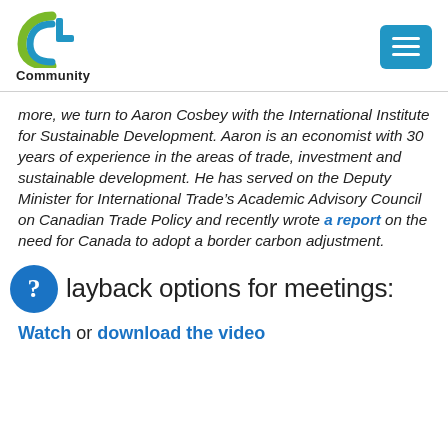[Figure (logo): Community logo with circular C graphic and text 'Community' below]
more, we turn to Aaron Cosbey with the International Institute for Sustainable Development. Aaron is an economist with 30 years of experience in the areas of trade, investment and sustainable development. He has served on the Deputy Minister for International Trade’s Academic Advisory Council on Canadian Trade Policy and recently wrote a report on the need for Canada to adopt a border carbon adjustment.
Playback options for meetings:
Watch or download the video